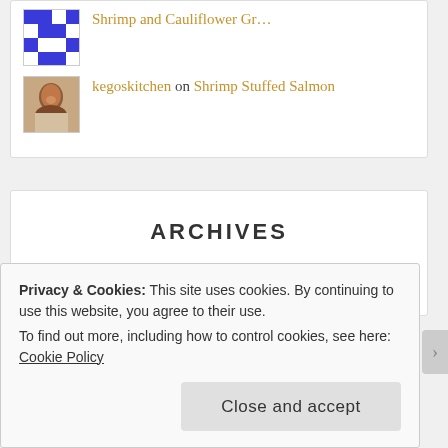Shrimp and Cauliflower Gr...
kegoskitchen on Shrimp Stuffed Salmon
ARCHIVES
February 2021
Privacy & Cookies: This site uses cookies. By continuing to use this website, you agree to their use.
To find out more, including how to control cookies, see here: Cookie Policy
Close and accept